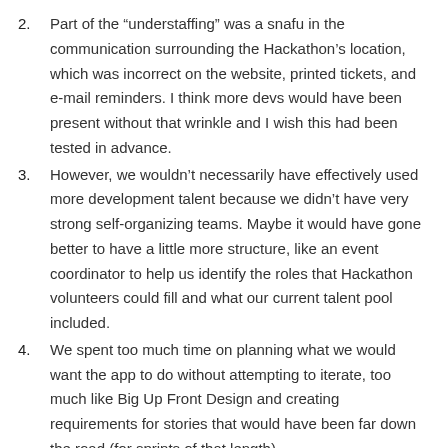2. Part of the “understaffing” was a snafu in the communication surrounding the Hackathon’s location, which was incorrect on the website, printed tickets, and e-mail reminders. I think more devs would have been present without that wrinkle and I wish this had been tested in advance.
3. However, we wouldn’t necessarily have effectively used more development talent because we didn’t have very strong self-organizing teams. Maybe it would have gone better to have a little more structure, like an event coordinator to help us identify the roles that Hackathon volunteers could fill and what our current talent pool included.
4. We spent too much time on planning what we would want the app to do without attempting to iterate, too much like Big Up Front Design and creating requirements for stories that would have been far down the road (for sprints of that length).
5. We could definitely have used more time to